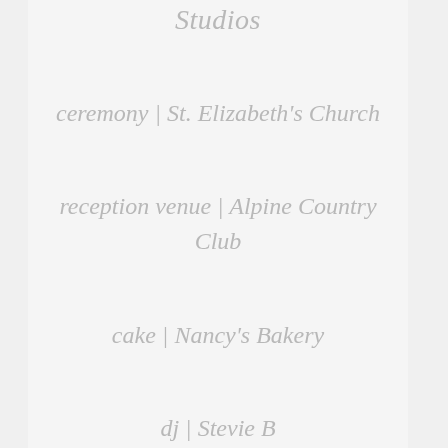Studios
ceremony | St. Elizabeth's Church
reception venue | Alpine Country Club
cake | Nancy's Bakery
dj | Stevie B